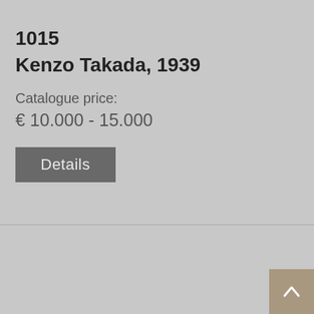1015
Kenzo Takada, 1939
Catalogue price:
€ 10.000 - 15.000
Details
[Figure (other): Back to top arrow button in bottom-right corner]